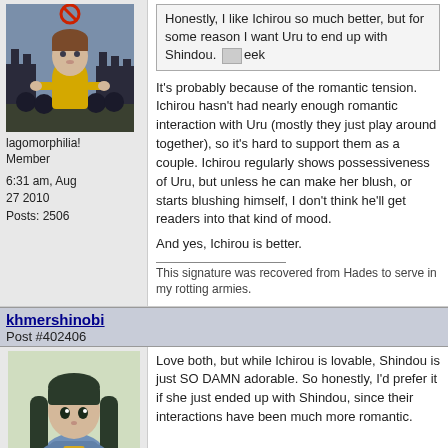[Figure (illustration): Anime-style user avatar: character in yellow outfit in front of dark castle silhouettes]
lagomorphilia!
Member

6:31 am, Aug 27 2010
Posts: 2506
Honestly, I like Ichirou so much better, but for some reason I want Uru to end up with Shindou. [eek]
It's probably because of the romantic tension. Ichirou hasn't had nearly enough romantic interaction with Uru (mostly they just play around together), so it's hard to support them as a couple. Ichirou regularly shows possessiveness of Uru, but unless he can make her blush, or starts blushing himself, I don't think he'll get readers into that kind of mood.

And yes, Ichirou is better.
This signature was recovered from Hades to serve in my rotting armies.
khmershinobi
Post #402406
[Figure (illustration): Anime-style user avatar: girl with long dark hair]
Love both, but while Ichirou is lovable, Shindou is just SO DAMN adorable. So honestly, I'd prefer it if she just ended up with Shindou, since their interactions have been much more romantic.
[Figure (illustration): Partial image visible at bottom of page]